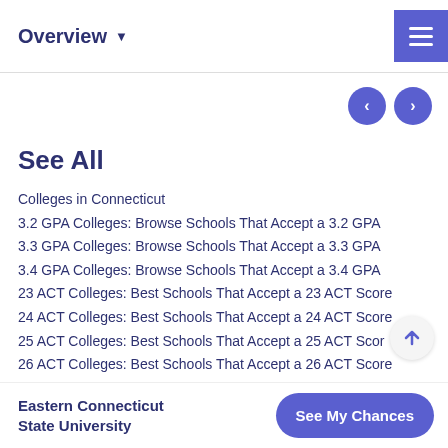Overview ▾
See All
Colleges in Connecticut
3.2 GPA Colleges: Browse Schools That Accept a 3.2 GPA
3.3 GPA Colleges: Browse Schools That Accept a 3.3 GPA
3.4 GPA Colleges: Browse Schools That Accept a 3.4 GPA
23 ACT Colleges: Best Schools That Accept a 23 ACT Score
24 ACT Colleges: Best Schools That Accept a 24 ACT Score
25 ACT Colleges: Best Schools That Accept a 25 ACT Score
26 ACT Colleges: Best Schools That Accept a 26 ACT Score
27 ACT Colleges: Best Schools That Accept a 27 ACT Score
Eastern Connecticut State University | See My Chances